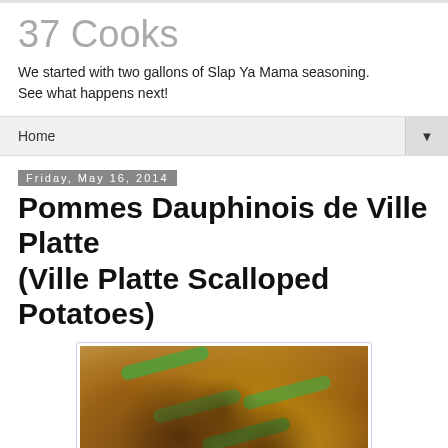37 Cooks
We started with two gallons of Slap Ya Mama seasoning. See what happens next!
Home
Friday, May 16, 2014
Pommes Dauphinois de Ville Platte (Ville Platte Scalloped Potatoes)
[Figure (photo): Close-up photo of scalloped potatoes in a dish, topped with green onions and browned caramelized spots]